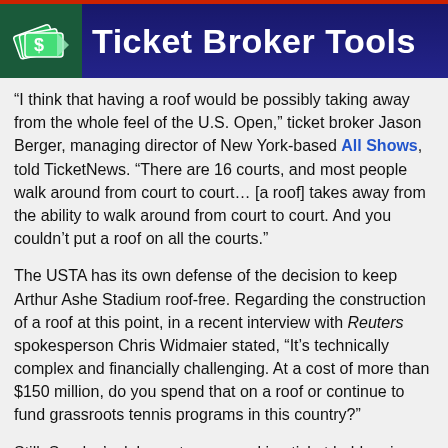Ticket Broker Tools
“I think that having a roof would be possibly taking away from the whole feel of the U.S. Open,” ticket broker Jason Berger, managing director of New York-based All Shows, told TicketNews. “There are 16 courts, and most people walk around from court to court… [a roof] takes away from the ability to walk around from court to court. And you couldn’t put a roof on all the courts.”
The USTA has its own defense of the decision to keep Arthur Ashe Stadium roof-free. Regarding the construction of a roof at this point, in a recent interview with Reuters spokesperson Chris Widmaier stated, “It’s technically complex and financially challenging. At a cost of more than $150 million, do you spend that on a roof or continue to fund grassroots tennis programs in this country?”
Still, Sunday’s delay put many working ticket holders in a bad position, having to sort out how to attend a 4 p.m. EDT finals